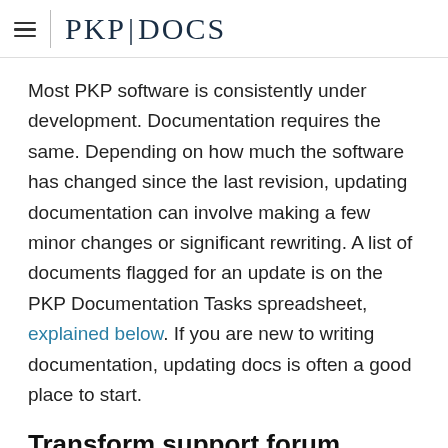PKP DOCS
Most PKP software is consistently under development. Documentation requires the same. Depending on how much the software has changed since the last revision, updating documentation can involve making a few minor changes or significant rewriting. A list of documents flagged for an update is on the PKP Documentation Tasks spreadsheet, explained below. If you are new to writing documentation, updating docs is often a good place to start.
Transform support forum topics into documentation #